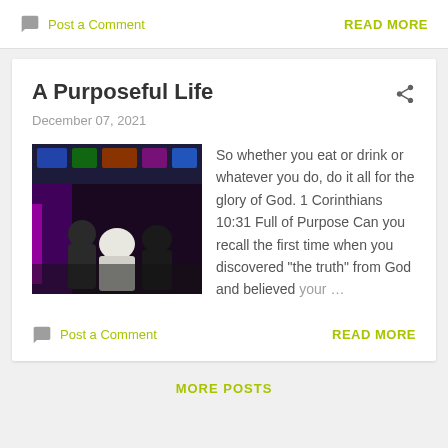Post a Comment
READ MORE
A Purposeful Life
December 07, 2021
[Figure (photo): People sitting/standing in what appears to be a venue or event space with colorful lighting]
So whether you eat or drink or whatever you do, do it all for the glory of God. 1 Corinthians 10:31 Full of Purpose Can you recall the first time when you discovered "the truth" from God and believed your ...
Post a Comment
READ MORE
MORE POSTS